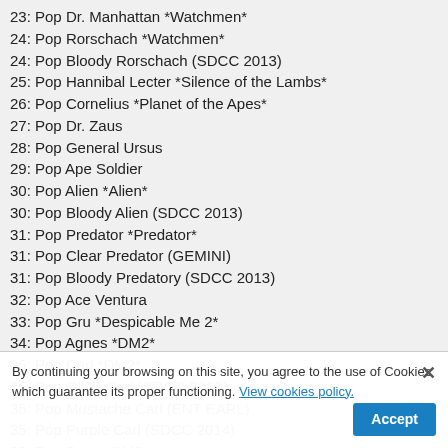23: Pop Dr. Manhattan *Watchmen*
24: Pop Rorschach *Watchmen*
24: Pop Bloody Rorschach (SDCC 2013)
25: Pop Hannibal Lecter *Silence of the Lambs*
26: Pop Cornelius *Planet of the Apes*
27: Pop Dr. Zaus
28: Pop General Ursus
29: Pop Ape Soldier
30: Pop Alien *Alien*
30: Pop Bloody Alien (SDCC 2013)
31: Pop Predator *Predator*
31: Pop Clear Predator (GEMINI)
31: Pop Bloody Predatory (SDCC 2013)
32: Pop Ace Ventura
33: Pop Gru *Despicable Me 2*
34: Pop Agnes *DM2*
35: Pop Carl *DM2*
35: Pop GITD Carl (SDCC 2013)
35: Pop Mustache Carl (ENT EARL)
35: Pop Purple Carl (SDCC 2014)
36: Pop Dave *DM2*
36: Pop Purple Dave (SDCC 2014)
37: Pop Evil Minion *DM2*
37: Pop Metallic Evil Minion (SDCC 2013)
By continuing your browsing on this site, you agree to the use of Cookies which guarantee its proper functioning. View cookies policy.